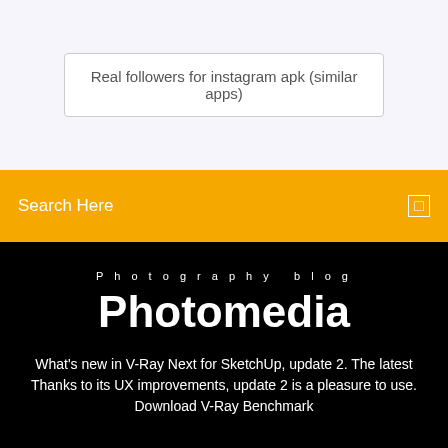Real followers for instagram apk (similar apps)
Search Here
Photography blog
Photomedia
What's new in V-Ray Next for SketchUp, update 2. The latest Thanks to its UX improvements, update 2 is a pleasure to use. Download V-Ray Benchmark